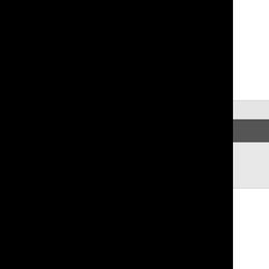You also forgot.....unless they get thei
11-17-2021, 02:18 PM
ms_m
Senior Member
unless they get their own Head & Shou

hahahaha... And that too!
11-17-2021, 02:28 PM
ms_m
Senior Member
There's a rookie on the Niners [[Talano
Long flowing hair, Pacific Islander othi